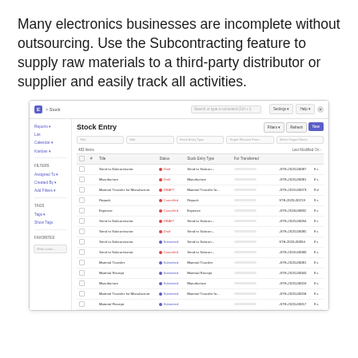Many electronics businesses are incomplete without outsourcing. Use the Subcontracting feature to supply raw materials to a third-party distributor or supplier and easily track all activities.
[Figure (screenshot): Screenshot of a Stock Entry list view in a business ERP/inventory management application showing multiple entries with statuses (Draft, Submitted, Cancelled) and stock entry types such as Send to Subcontractor, Manufacture, Material Transfer for Manufacture, Repack, and Material Receipt.]